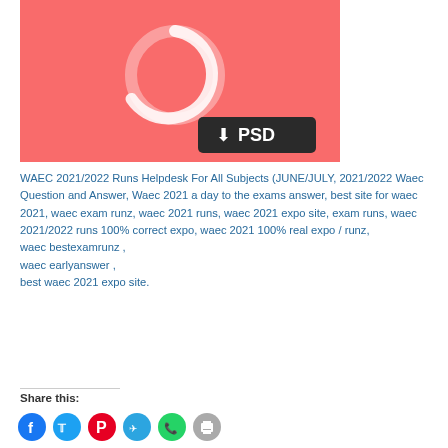[Figure (illustration): Red/coral background with a white circular loading spinner icon and a dark button labeled with a down arrow and 'PSD']
WAEC 2021/2022 Runs Helpdesk For All Subjects (JUNE/JULY, 2021/2022 Waec Question and Answer, Waec 2021 a day to the exams answer, best site for waec 2021, waec exam runz, waec 2021 runs, waec 2021 expo site, exam runs, waec 2021/2022 runs 100% correct expo, waec 2021 100% real expo / runz, waec bestexamrunz , waec earlyanswer , best waec 2021 expo site.
Share this: